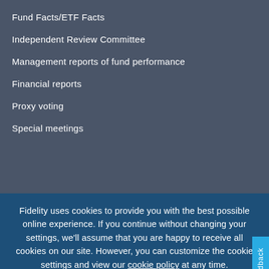Fund Facts/ETF Facts
Independent Review Committee
Management reports of fund performance
Financial reports
Proxy voting
Special meetings
Fidelity uses cookies to provide you with the best possible online experience. If you continue without changing your settings, we'll assume that you are happy to receive all cookies on our site. However, you can customize the cookie settings and view our cookie policy at any time.
Continue →
Customise →